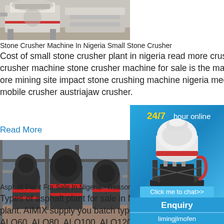[Figure (photo): Stone crusher machine photo, grayscale/beige industrial machine]
Stone Crusher Machine In Nigeria Small Stone Crusher
Cost of small stone crusher plant in nigeria read more crushing of granite stone in nigeria crusher machine stone crusher machine for sale is the main processing equipment for iron ore mining site impact stone crushing machine nigeria mechanicalimpact crusher for and the mobile crusher austriajaw crusher.
Read More
[Figure (photo): Asphalt plant with multiple vertical mill machines in a factory setting]
Asphalt Plant For Sale In Nigeria - Reasonable P
Types of asphalt plant for sale in Nigeria Ba plant. AIMIX supply you batch type asphalt ALQ60, ALQ80, ALQ100, ALQ120, ALQ160
[Figure (infographic): Blue sidebar advertisement: 24/7 hour online, cone crusher image, Click me to chat>>, Enquiry, limingjlmofen]
limingjlmofen